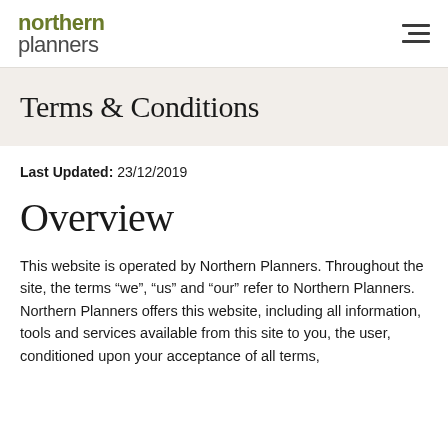northern planners
Terms & Conditions
Last Updated: 23/12/2019
Overview
This website is operated by Northern Planners. Throughout the site, the terms “we”, “us” and “our” refer to Northern Planners. Northern Planners offers this website, including all information, tools and services available from this site to you, the user, conditioned upon your acceptance of all terms,